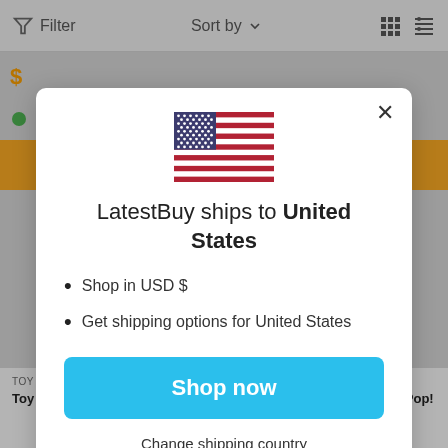Filter   Sort by   [grid icon] [list icon]
[Figure (screenshot): US flag emoji centered in modal dialog]
LatestBuy ships to United States
Shop in USD $
Get shipping options for United States
Shop now
Change shipping country
TOY STORY
Toy Story Buzz Lightyear Pop!
WIGGLES
The Wiggles Emma Wiggle Pop!